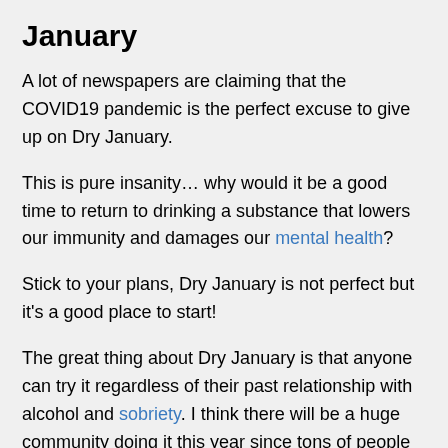January
A lot of newspapers are claiming that the COVID19 pandemic is the perfect excuse to give up on Dry January.
This is pure insanity… why would it be a good time to return to drinking a substance that lowers our immunity and damages our mental health?
Stick to your plans, Dry January is not perfect but it's a good place to start!
The great thing about Dry January is that anyone can try it regardless of their past relationship with alcohol and sobriety. I think there will be a huge community doing it this year since tons of people developed new alcohol habits in 2020 while quarantining that they now want to